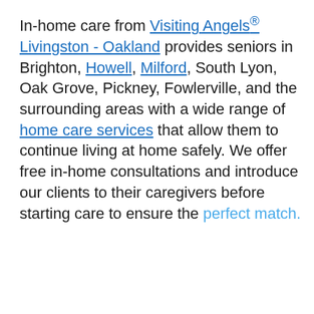In-home care from Visiting Angels® Livingston - Oakland provides seniors in Brighton, Howell, Milford, South Lyon, Oak Grove, Pickney, Fowlerville, and the surrounding areas with a wide range of home care services that allow them to continue living at home safely. We offer free in-home consultations and introduce our clients to their caregivers before starting care to ensure the perfect match.
We use cookies to personalize your experience on our site. To find out more, please read our data policy.
Companion Care in Brighton
Choosing in-home care in Brighton for a loved one can feel like a daunting task filled with